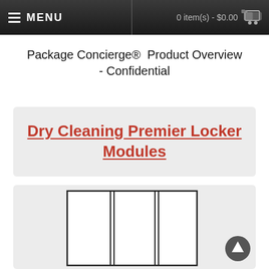MENU  |  0 item(s) - $0.00
Package Concierge®  Product Overview - Confidential
Dry Cleaning Premier Locker Modules
[Figure (illustration): Line drawing of a dry cleaning locker unit with three tall vertical compartments, shown as a front-view engineering-style diagram.]